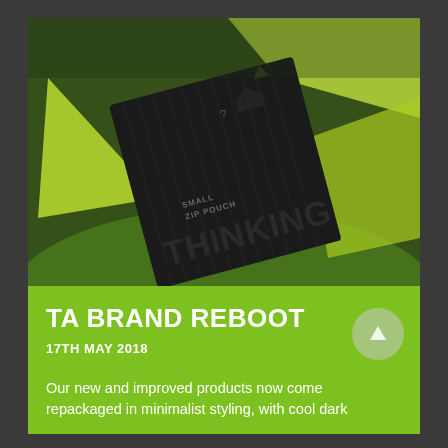[Figure (photo): Product photo showing a dark/black corrugated box labeled 'SMALL ZIP POUCH THINKING' placed on green grass with lime-green geometric shapes/packaging in the background.]
TA BRAND REBOOT
17TH MAY 2018
Our new and improved products now come repackaged in minimalist styling, with cool dark